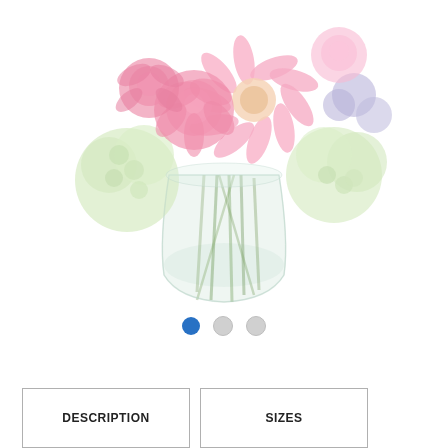[Figure (photo): A floral arrangement in a clear glass vase featuring pink roses, pink gerbera daisies, light green hydrangeas, and purple flowers, shown against a white background. The image is slightly faded/washed out.]
[Figure (other): Three pagination dots: first dot is filled blue (active), second and third are light gray (inactive).]
DESCRIPTION
SIZES